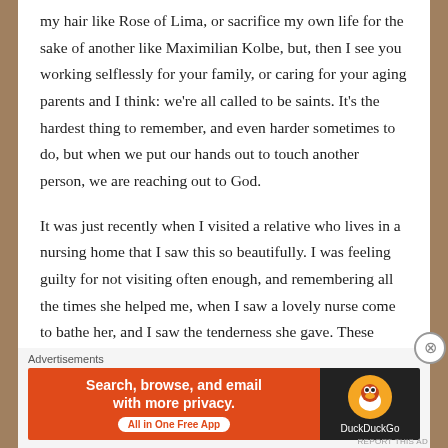my hair like Rose of Lima, or sacrifice my own life for the sake of another like Maximilian Kolbe, but, then I see you working selflessly for your family, or caring for your aging parents and I think: we're all called to be saints. It's the hardest thing to remember, and even harder sometimes to do, but when we put our hands out to touch another person, we are reaching out to God.
It was just recently when I visited a relative who lives in a nursing home that I saw this so beautifully. I was feeling guilty for not visiting often enough, and remembering all the times she helped me, when I saw a lovely nurse come to bathe her, and I saw the tenderness she gave. These opportunities no matter how small are gifts for us. Especially in the political climate we are living in, with a
Advertisements
[Figure (other): DuckDuckGo advertisement banner with orange-red background on the left reading 'Search, browse, and email with more privacy. All in One Free App' and dark background on the right with DuckDuckGo duck logo and brand name.]